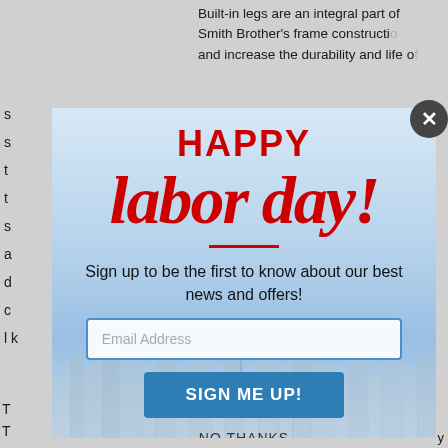Built-in legs are an integral part of Smith Brother's frame construction and increase the durability and life of...
s s t t s a d s l k c t
[Figure (screenshot): Labor Day email signup modal popup with city skyline background. Contains 'HAPPY' in bold red uppercase, 'labor day!' in large red italic script, a red underline, signup text, email input field, 'SIGN ME UP!' button in blue, and 'NO THANKS' text link. A close button (X) appears in top right corner.]
HAPPY
labor day!
Sign up to be the first to know about our best news and offers!
Email Address
SIGN ME UP!
NO THANKS